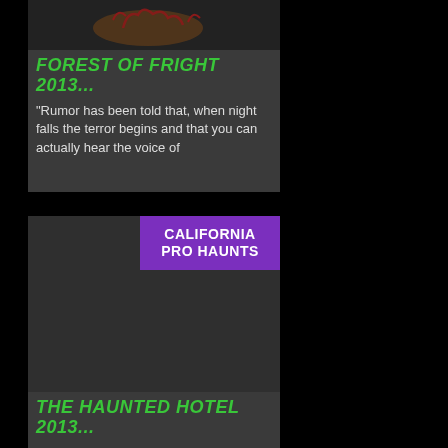[Figure (illustration): Dark decorative image with creature/monster silhouette at top of Forest of Fright card]
FOREST OF FRIGHT 2013...
“Rumor has been told that, when night falls the terror begins and that you can actually hear the voice of
[Figure (illustration): Dark gray image area for The Haunted Hotel card with California Pro Haunts purple badge overlay]
THE HAUNTED HOTEL 2013...
Since 1993 the spirits at the Berkele Buildi...
CONTACT US